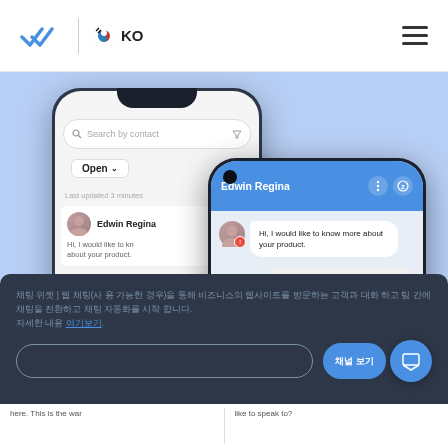[Figure (screenshot): App interface screenshot showing two smartphones displaying a messaging/customer service application. Left phone shows contact list with 'Open' dropdown and 'Edwin Regina' contact. Right phone shows chat conversation with Edwin Regina with messages 'Hi, I would like to know more about your product.' and 'Hi Regina, who would you like to speak to?'. A dark overlay panel at the bottom contains Korean text and action buttons including a chat icon.]
KO
Edwin Regina
Hi, I would like to know more about your product.
Hi Regina, who would you like to speak to?
here. This is the war
like to speak to?